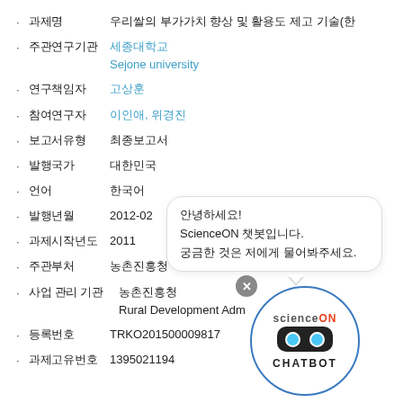· 과제명  우리쌀의 부가가치 향상 및 활용도 제고 기술(한
· 주관연구기관  세종대학교 Sejone university
· 연구책임자  고상훈
· 참여연구자  이인애, 위경진
· 보고서유형  최종보고서
· 발행국가  대한민국
· 언어  한국어
· 발행년월  2012-02
· 과제시작년도  2011
· 주관부처  농촌진흥청
· 사업 관리 기관  농촌진흥청 Rural Development Adm
· 등록번호  TRKO201500009817
· 과제고유번호  1395021194
[Figure (illustration): ScienceON chatbot widget with speech bubble saying 안녕하세요! ScienceON 챗봇입니다. 궁금한 것은 저에게 물어봐주세요.]